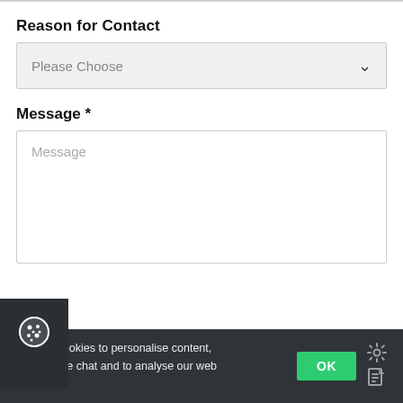Reason for Contact
Please Choose
Message *
Message
We use cookies to personalise content, provide live chat and to analyse our web traffic.